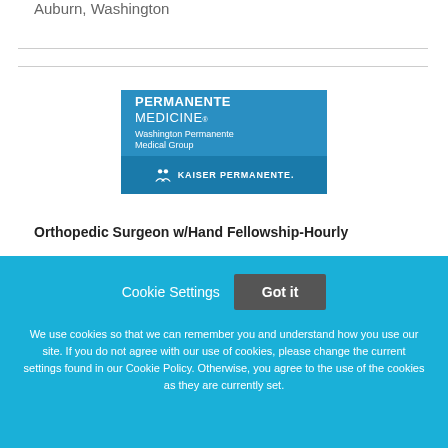Auburn, Washington
[Figure (logo): Permanente Medicine Washington Permanente Medical Group / Kaiser Permanente logo on blue background]
Orthopedic Surgeon w/Hand Fellowship-Hourly
Cookie Settings   Got it

We use cookies so that we can remember you and understand how you use our site. If you do not agree with our use of cookies, please change the current settings found in our Cookie Policy. Otherwise, you agree to the use of the cookies as they are currently set.